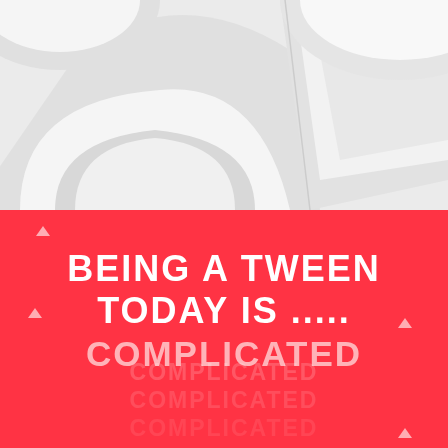[Figure (illustration): Abstract 3D white geometric shapes — overlapping curves, arches, and angular panels on a light grey background, occupying the top half of the page.]
BEING A TWEEN TODAY IS ..... COMPLICATED
COMPLICATED COMPLICATED COMPLICATED (fading echo text)